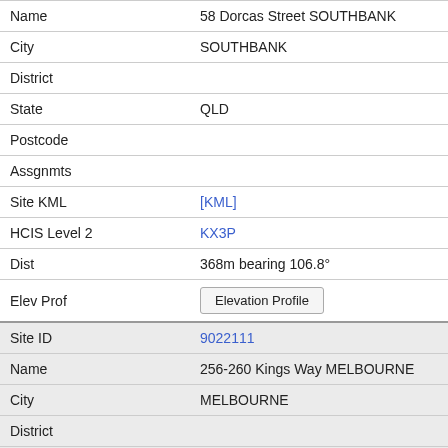| Name | 58 Dorcas Street SOUTHBANK |
| City | SOUTHBANK |
| District |  |
| State | QLD |
| Postcode |  |
| Assgnmts |  |
| Site KML | [KML] |
| HCIS Level 2 | KX3P |
| Dist | 368m bearing 106.8° |
| Elev Prof | Elevation Profile |
| Site ID | 9022111 |
| Name | 256-260 Kings Way MELBOURNE |
| City | MELBOURNE |
| District |  |
| State | VIC |
| Postcode | 3205 |